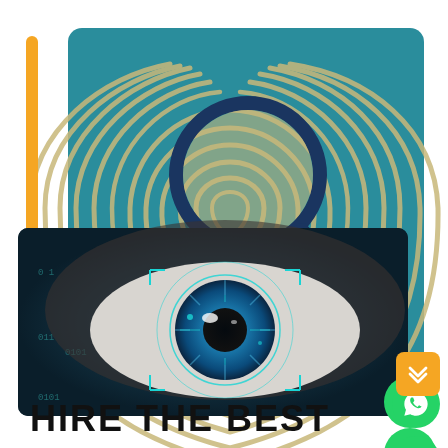[Figure (illustration): Security/biometrics promotional graphic. Teal background card with a large fingerprint illustration and a magnifying glass overlay. In the foreground, a close-up of a human eye with a blue iris being scanned by a digital targeting reticle with binary code on a dark background. Two green circular social media buttons (WhatsApp and phone) on the right side. An orange square badge with double chevron up arrow in the bottom right. A vertical orange bar on the left.]
HIRE THE BEST